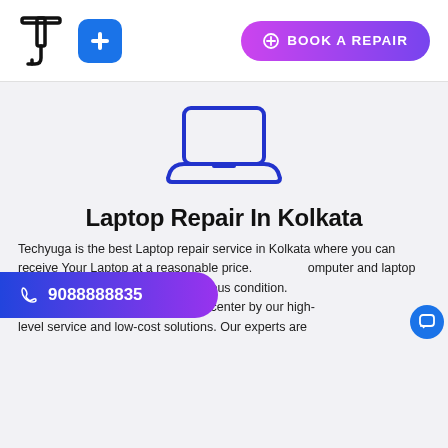[Figure (logo): Techyuga logo - stylized T with wrench]
[Figure (illustration): Blue rounded square with white plus icon]
BOOK A REPAIR
[Figure (illustration): Blue outline laptop icon]
Laptop Repair In Kolkata
Techyuga is the best Laptop repair service in Kolkata where you can receive Your Laptop at a reasonable price. computer and laptop repair shop to its previous condition. Customers are drawn to our service center by our high-level service and low-cost solutions. Our experts are
9088888835